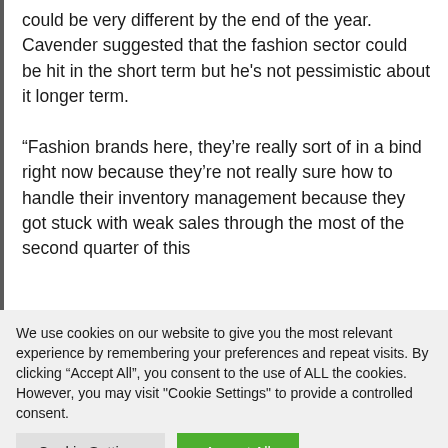could be very different by the end of the year. Cavender suggested that the fashion sector could be hit in the short term but he's not pessimistic about it longer term.
“Fashion brands here, they’re really sort of in a bind right now because they’re not really sure how to handle their inventory management because they got stuck with weak sales through the most of the second quarter of this
We use cookies on our website to give you the most relevant experience by remembering your preferences and repeat visits. By clicking “Accept All”, you consent to the use of ALL the cookies. However, you may visit "Cookie Settings" to provide a controlled consent.